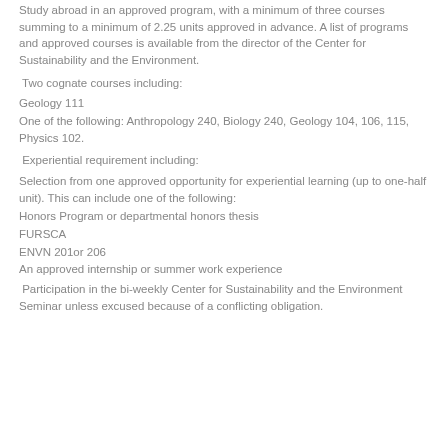Study abroad in an approved program, with a minimum of three courses summing to a minimum of 2.25 units approved in advance. A list of programs and approved courses is available from the director of the Center for Sustainability and the Environment.
Two cognate courses including:
Geology 111
One of the following: Anthropology 240, Biology 240, Geology 104, 106, 115, Physics 102.
Experiential requirement including:
Selection from one approved opportunity for experiential learning (up to one-half unit). This can include one of the following:
Honors Program or departmental honors thesis
FURSCA
ENVN 201or 206
An approved internship or summer work experience
Participation in the bi-weekly Center for Sustainability and the Environment Seminar unless excused because of a conflicting obligation.